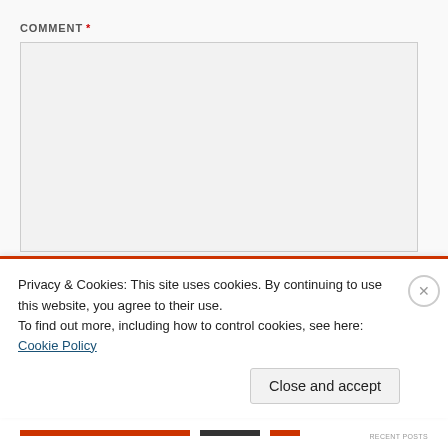COMMENT *
[Figure (screenshot): Empty comment textarea input field with light gray background]
NAME *
[Figure (screenshot): Empty name text input field with white background]
Privacy & Cookies: This site uses cookies. By continuing to use this website, you agree to their use.
To find out more, including how to control cookies, see here: Cookie Policy
Close and accept